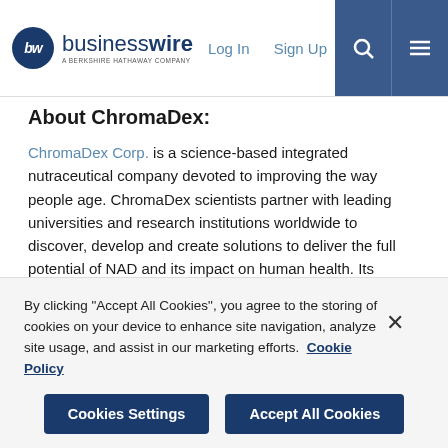businesswire — A BERKSHIRE HATHAWAY COMPANY | Log In | Sign Up
About ChromaDex:
ChromaDex Corp. is a science-based integrated nutraceutical company devoted to improving the way people age. ChromaDex scientists partner with leading universities and research institutions worldwide to discover, develop and create solutions to deliver the full potential of NAD and its impact on human health. Its flagship ingredient, NIAGEN® nicotinamide riboside, sold directly to consumers as TRU NIAGEN®, is backed with clinical and scientific research, as well as extensive IP protection. TRU NIAGEN® is helping the world AGE BETTER®. ChromaDex maintains a website
By clicking "Accept All Cookies", you agree to the storing of cookies on your device to enhance site navigation, analyze site usage, and assist in our marketing efforts.  Cookie Policy
Cookies Settings | Accept All Cookies